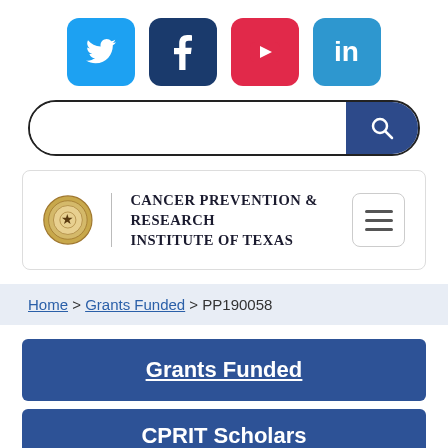[Figure (logo): Social media icons: Twitter (blue), Facebook (dark blue), YouTube (red), LinkedIn (light blue)]
[Figure (screenshot): Search bar with magnifying glass button on right side, dark blue button]
[Figure (logo): Cancer Prevention & Research Institute of Texas logo with Texas state seal and hamburger menu button]
Home > Grants Funded > PP190058
Grants Funded
CPRIT Scholars